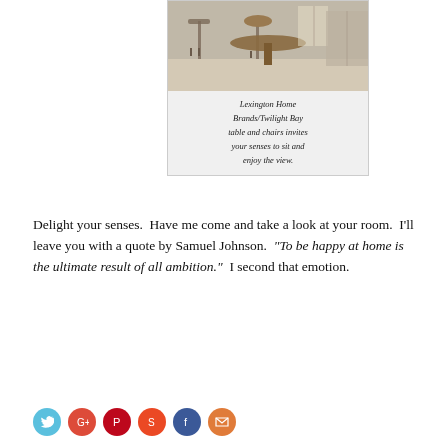[Figure (photo): Photo of Lexington Home Brands/Twilight Bay table and chairs in a home setting]
Lexington Home Brands/Twilight Bay table and chairs invites your senses to sit and enjoy the view.
Delight your senses.  Have me come and take a look at your room.  I'll leave you with a quote by Samuel Johnson.  “To be happy at home is the ultimate result of all ambition.”  I second that emotion.